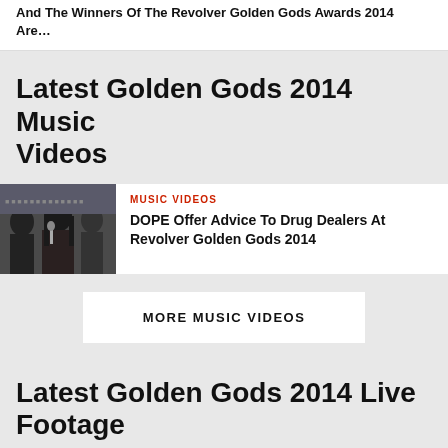And The Winners Of The Revolver Golden Gods Awards 2014 Are...
Latest Golden Gods 2014 Music Videos
[Figure (photo): Photo of people at Revolver Golden Gods 2014 event, appears to be an interview setting with multiple people]
MUSIC VIDEOS
DOPE Offer Advice To Drug Dealers At Revolver Golden Gods 2014
MORE MUSIC VIDEOS
Latest Golden Gods 2014 Live Footage